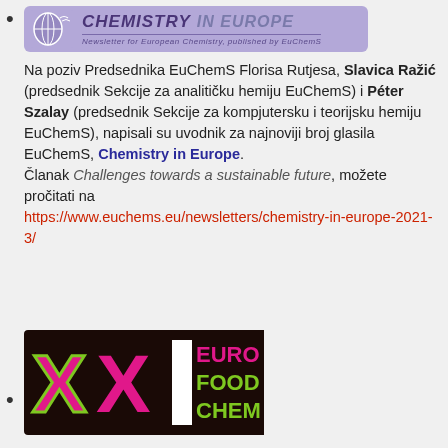[Figure (logo): Chemistry in Europe newsletter logo banner with purple background, white globe icon, bold italic title 'CHEMISTRY in Europe', subtitle 'Newsletter for European Chemistry, published by EuChemS']
Na poziv Predsednika EuChemS Florisa Rutjesa, Slavica Ražić (predsednik Sekcije za analitičku hemiju EuChemS) i Péter Szalay (predsednik Sekcije za kompjutersku i teorijsku hemiju EuChemS), napisali su uvodnik za najnoviji broj glasila EuChemS, Chemistry in Europe.
Članak Challenges towards a sustainable future, možete pročitati na https://www.euchems.eu/newsletters/chemistry-in-europe-2021-3/
[Figure (logo): XXI EuroFoodChem logo with dark background, large pink/magenta X X letters and green roman numeral I, with 'EURO FOOD CHEM' text in pink and green]
Конференција XXI EuroFoodChem у Београду одлажена за септембар 2023.